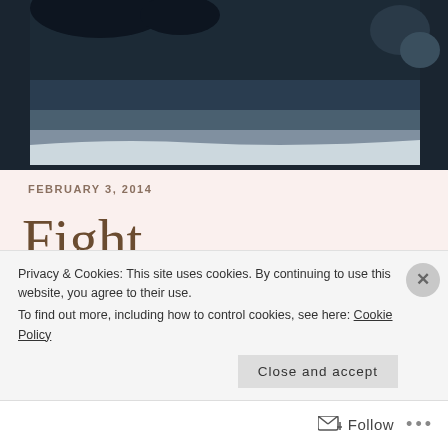[Figure (photo): A dark winter mountain landscape with snow and dark sky, partially cropped at the top of the page.]
FEBRUARY 3, 2014
Fight discouragement with truth
Privacy & Cookies: This site uses cookies. By continuing to use this website, you agree to their use.
To find out more, including how to control cookies, see here: Cookie Policy
Close and accept
Follow